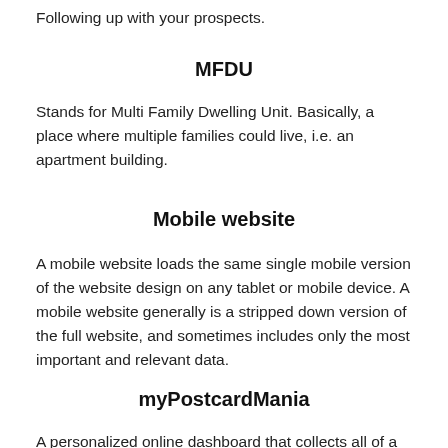Following up with your prospects.
MFDU
Stands for Multi Family Dwelling Unit. Basically, a place where multiple families could live, i.e. an apartment building.
Mobile website
A mobile website loads the same single mobile version of the website design on any tablet or mobile device. A mobile website generally is a stripped down version of the full website, and sometimes includes only the most important and relevant data.
myPostcardMania
A personalized online dashboard that collects all of a